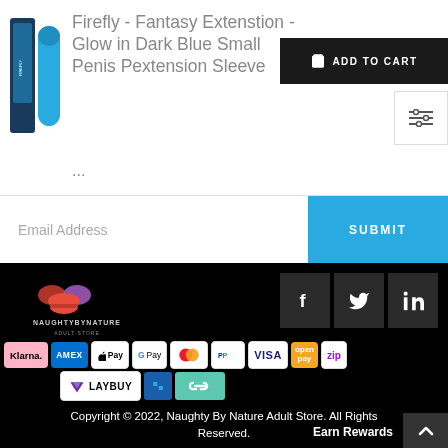[Figure (photo): Product image of Firefly Fantasy Extension - two blue elongated items]
Firefly - Fantasy Extenstion - Glow in Dark Blue Small Penis Pextension Sleeve
ADD TO CART
...
Email Address
SUBMIT
[Figure (logo): NaughtyByNature Adult Store logo with lips and sunglasses illustration]
[Figure (infographic): Social media icons: Facebook, Twitter, LinkedIn]
[Figure (infographic): Payment method badges: Klarna, AMEX, Apple Pay, Google Pay, Mastercard, PayPal, VISA, OpenPay, Zip, LayBuy and others]
Copyright © 2022, Naughty By Nature Adult Store. All Rights Reserved.
Earn Rewards